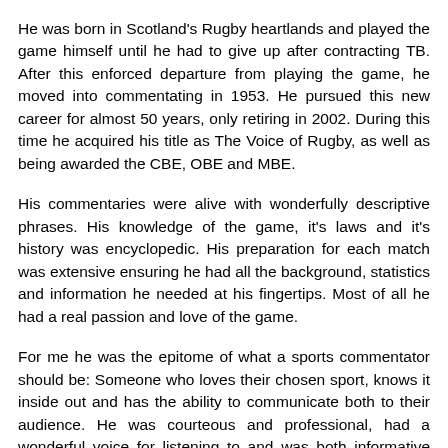He was born in Scotland's Rugby heartlands and played the game himself until he had to give up after contracting TB. After this enforced departure from playing the game, he moved into commentating in 1953. He pursued this new career for almost 50 years, only retiring in 2002. During this time he acquired his title as The Voice of Rugby, as well as being awarded the CBE, OBE and MBE.
His commentaries were alive with wonderfully descriptive phrases. His knowledge of the game, it's laws and it's history was encyclopedic. His preparation for each match was extensive ensuring he had all the background, statistics and information he needed at his fingertips. Most of all he had a real passion and love of the game.
For me he was the epitome of what a sports commentator should be: Someone who loves their chosen sport, knows it inside out and has the ability to communicate both to their audience. He was courteous and professional, had a wonderful voice for listening to and was both informative and entertaining.